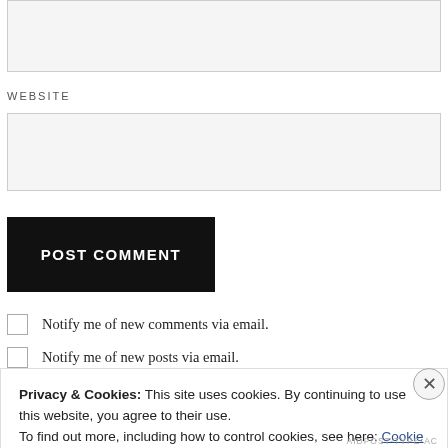[text input box top]
WEBSITE
[website input box]
POST COMMENT
Notify me of new comments via email.
Notify me of new posts via email.
Privacy & Cookies: This site uses cookies. By continuing to use this website, you agree to their use.
To find out more, including how to control cookies, see here: Cookie Policy
Close and accept
AIDPOST-TYPE-AC